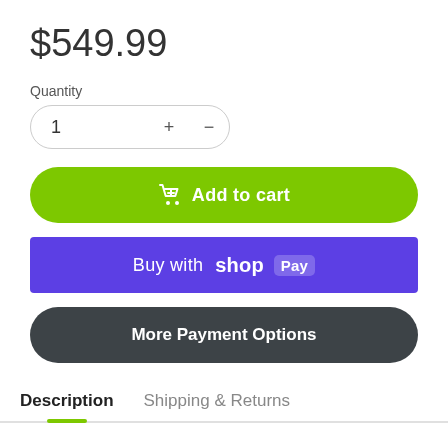$549.99
Quantity
1
Add to cart
Buy with shop Pay
More Payment Options
Description
Shipping & Returns